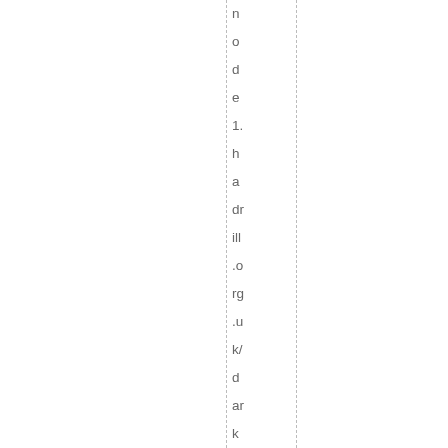node1.hadrillо.org.uk/darkbasic/raspbian – where